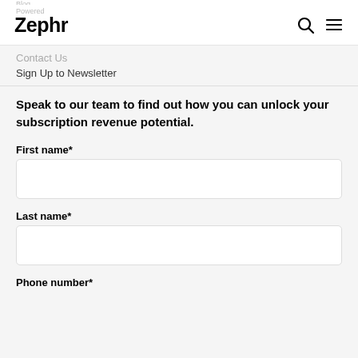Zephr
Contact Us
Sign Up to Newsletter
Speak to our team to find out how you can unlock your subscription revenue potential.
First name*
Last name*
Phone number*